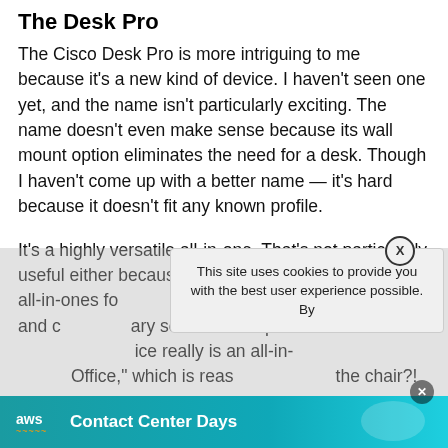The Desk Pro
The Cisco Desk Pro is more intriguing to me because it's a new kind of device. I haven't seen one yet, and the name isn't particularly exciting. The name doesn't even make sense because its wall mount option eliminates the need for a desk. Though I haven't come up with a better name — it's hard because it doesn't fit any known profile.
It's a highly versatile all-in-one. That's not particularly useful either because the industry has been making all-in-ones fo... include a display, and c... ary software and processo... ice really is an all-in-... Office," which is reas... the chair?!
This site uses cookies to provide you with the best user experience possible. By
[Figure (screenshot): AWS Contact Center Days promotional banner at the bottom of the page with teal/cyan gradient background, AWS logo on left, and 'Contact Center Days' text in white bold font. A close button (X) is shown in a dark circle above the banner.]